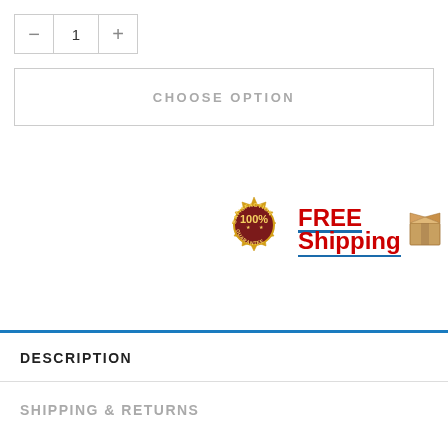− 1 +
CHOOSE OPTION
[Figure (infographic): Two badges: a gold 'Satisfaction 100% Guarantee' seal and a 'FREE Shipping' badge with a cardboard box icon]
DESCRIPTION
SHIPPING & RETURNS